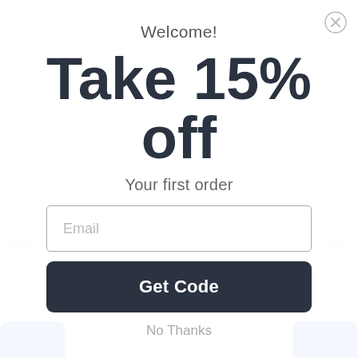[Figure (screenshot): E-commerce popup/modal offering 15% off first order. Contains welcome text, bold promotional headline 'Take 15% off', subtitle 'Your first order', email input field, 'Get Code' button, and 'No Thanks' link. Background shows partial page content including 'Pay i', 'with', 'Price', 'Quanti' labels and blue buttons at bottom corners. A close (X) button is in the top-right corner.]